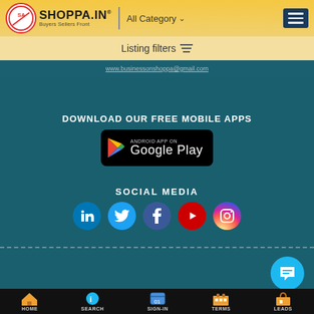[Figure (logo): SHOPPA.IN logo with SA circle icon and tagline Buyers Sellers Front]
All Category
Listing filters
DOWNLOAD OUR FREE MOBILE APPS
[Figure (illustration): Google Play Store download button]
SOCIAL MEDIA
[Figure (illustration): Social media icons: LinkedIn, Twitter, Facebook, YouTube, Instagram]
HOME  SEARCH  SIGN-IN  TERMS  LEADS